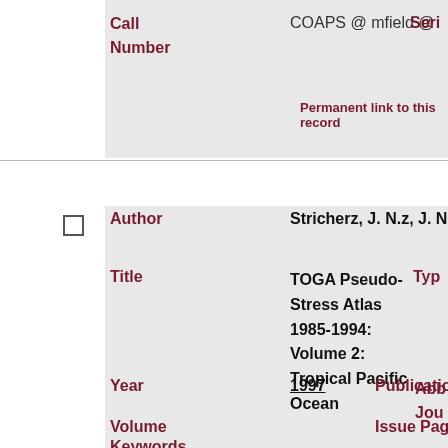| Field | Value | Extra |
| --- | --- | --- |
| Call Number | COAPS @ mfield @ | Seri… |
|  | Permanent link to this record |  |
| Author | Stricherz, J. N.z, J. N.; Legler, D. M.; O'Brie… |  |
| Title | TOGA Pseudo-Stress Atlas 1985-1994: Volume 2: Tropical Pacific Ocean | Typ… |
| Year | 1997 | Publication | Abb… Jou… |
| Volume |  | Issue | Pag… |
| Keywords |  |  |  |